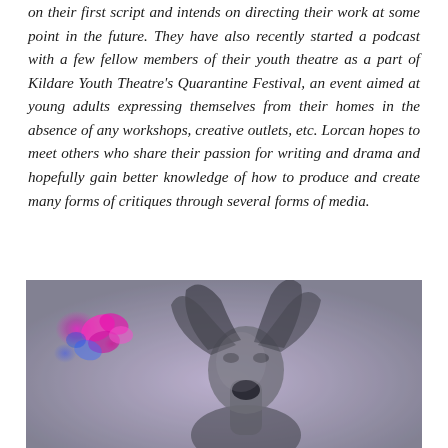on their first script and intends on directing their work at some point in the future. They have also recently started a podcast with a few fellow members of their youth theatre as a part of Kildare Youth Theatre's Quarantine Festival, an event aimed at young adults expressing themselves from their homes in the absence of any workshops, creative outlets, etc. Lorcan hopes to meet others who share their passion for writing and drama and hopefully gain better knowledge of how to produce and create many forms of critiques through several forms of media.
[Figure (photo): Black and white photo of a person with long hair, mouth open wide as if screaming, head tilted back. A bright pink/magenta and blue colorful element (possibly flowers or abstract color) appears in the upper left area of the image. The overall tone is dramatic and monochromatic with a grayish-purple wash.]